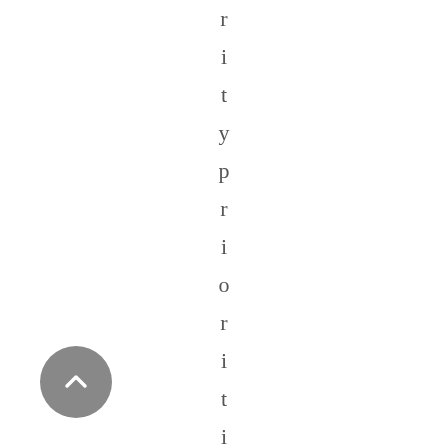rity priorities, asid
[Figure (other): A circular grey back/up navigation button with a chevron/arrow pointing upward, located in the bottom-left area of the page.]